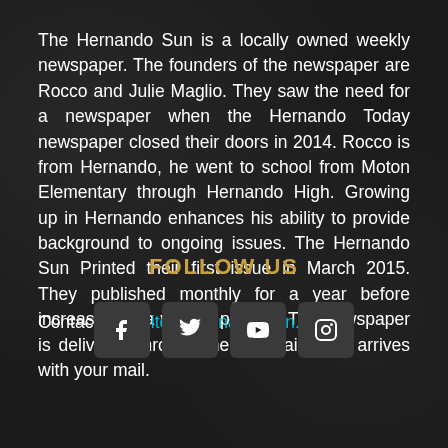The Hernando Sun is a locally owned weekly newspaper. The founders of the newspaper are Rocco and Julie Maglio. They saw the need for a newspaper when the Hernando Today newspaper closed their doors in 2014. Rocco is from Hernando, he went to school from Moton Elementary through Hernando High. Growing up in Hernando enhances his ability to provide background to ongoing issues. The Hernando Sun Printed their first issue in March 2015. They published monthly for a year before increasing to a weekly printing. The newspaper is delivered through the US mail, so it arrives with your mail.
Contact us: editor@hernandosun.com
FOLLOW US
[Figure (other): Four social media icons in rounded square buttons: Facebook (f), Twitter/X (bird), YouTube (play button), Instagram (camera)]